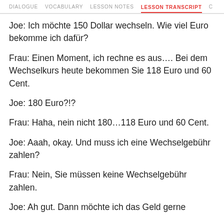DIALOGUE   VOCABULARY   LESSON NOTES   LESSON TRANSCRIPT   C
Joe: Ich möchte 150 Dollar wechseln. Wie viel Euro bekomme ich dafür?
Frau: Einen Moment, ich rechne es aus…. Bei dem Wechselkurs heute bekommen Sie 118 Euro und 60 Cent.
Joe: 180 Euro?!?
Frau: Haha, nein nicht 180…118 Euro und 60 Cent.
Joe: Aaah, okay. Und muss ich eine Wechselgebühr zahlen?
Frau: Nein, Sie müssen keine Wechselgebühr zahlen.
Joe: Ah gut. Dann möchte ich das Geld gerne